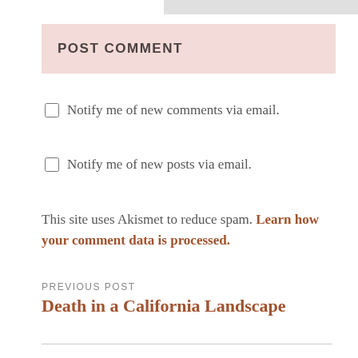POST COMMENT
Notify me of new comments via email.
Notify me of new posts via email.
This site uses Akismet to reduce spam. Learn how your comment data is processed.
PREVIOUS POST
Death in a California Landscape
NEXT POST
Californios, A Collection of Stories by Jeff McElroy